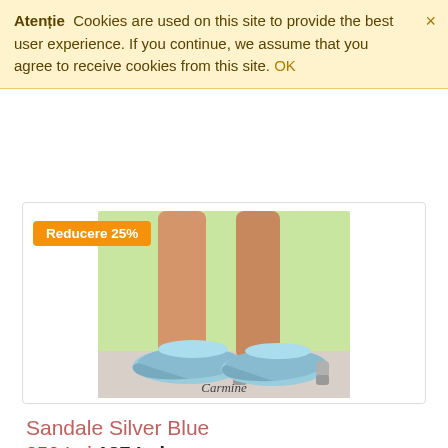Atenție  Cookies are used on this site to provide the best user experience. If you continue, we assume that you agree to receive cookies from this site. OK
[Figure (photo): Photo of light blue slingback heeled sandals (Carmine brand) worn on a person's feet, outdoors with green background. A badge overlay reads 'Reducere 25%'.]
Sandale Silver Blue
250 Lei  187 Lei
Sandalele Silver Blue, sunt perfecte pentru sezonul cald